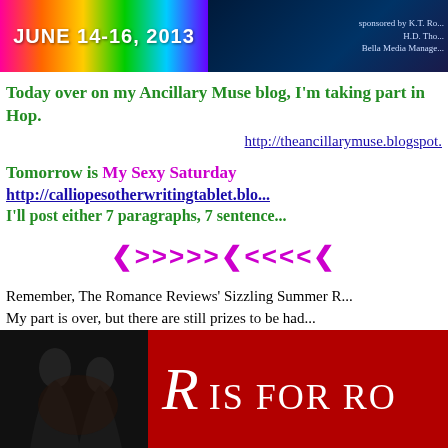[Figure (illustration): Two banner images side by side: left is a rainbow gradient banner with text 'JUNE 14-16, 2013', right is a dark blue banner with text 'sponsored by K.T. Ro... H.D. Tho... Bella Media Manage...']
Today over on my Ancillary Muse blog, I'm taking part in... Hop.
http://theancillarymuse.blogspot.
Tomorrow is My Sexy Saturday
http://calliopesotherwritingtablet.blo...
I'll post either 7 paragraphs, 7 sentence...
❮>>>>>❮<<<<❮
Remember, The Romance Reviews' Sizzling Summer R... My part is over, but there are still prizes to be had...
[Figure (illustration): Bottom banner with dark silhouette image on left and red background with text 'R IS FOR RO' on right]